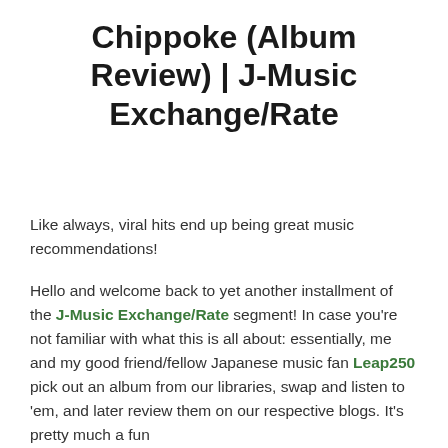Chippoke (Album Review) | J-Music Exchange/Rate
Like always, viral hits end up being great music recommendations!
Hello and welcome back to yet another installment of the J-Music Exchange/Rate segment! In case you're not familiar with what this is all about: essentially, me and my good friend/fellow Japanese music fan Leap250 pick out an album from our libraries, swap and listen to 'em, and later review them on our respective blogs. It's pretty much a fun